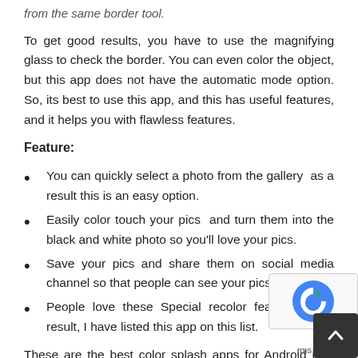from the same border tool.
To get good results, you have to use the magnifying glass to check the border. You can even color the object, but this app does not have the automatic mode option. So, its best to use this app, and this has useful features, and it helps you with flawless features.
Feature:
You can quickly select a photo from the gallery as a result this is an easy option.
Easily color touch your pics and turn them into the black and white photo so you'll love your pics.
Save your pics and share them on social media channel so that people can see your pics.
People love these Special recolor features as a result, I have listed this app on this list.
These are the best color splash apps for Android in 2... you want to checkout more color splash apps then you...